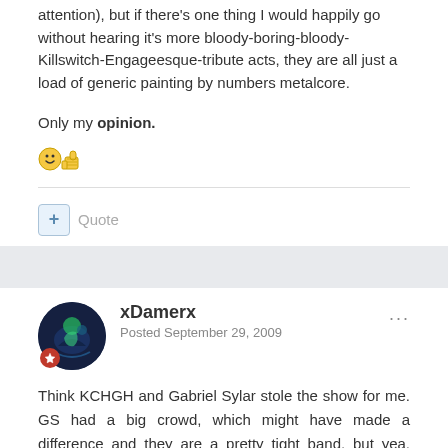attention), but if there's one thing I would happily go without hearing it's more bloody-boring-bloody-Killswitch-Engageesque-tribute acts, they are all just a load of generic painting by numbers metalcore.
Only my opinion.
[Figure (illustration): Emoji: smiley face with thumbs up]
+ Quote
xDamerx
Posted September 29, 2009
Think KCHGH and Gabriel Sylar stole the show for me. GS had a big crowd, which might have made a difference and they are a pretty tight band, but yea, could use with loosening on stage, but it was their first show! KCHGH, I've heard of them, but hadn't heard them, but probably cause they have no songs on their myspace. I thought they were pretty wicked, but what got my